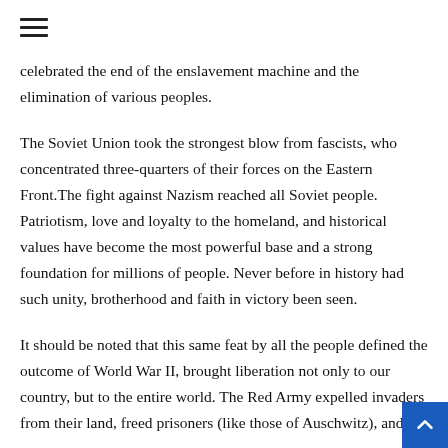≡ (hamburger menu icon)
celebrated the end of the enslavement machine and the elimination of various peoples.
The Soviet Union took the strongest blow from fascists, who concentrated three-quarters of their forces on the Eastern Front.The fight against Nazism reached all Soviet people. Patriotism, love and loyalty to the homeland, and historical values have become the most powerful base and a strong foundation for millions of people. Never before in history had such unity, brotherhood and faith in victory been seen.
It should be noted that this same feat by all the people defined the outcome of World War II, brought liberation not only to our country, but to the entire world. The Red Army expelled invaders from their land, freed prisoners (like those of Auschwitz), and